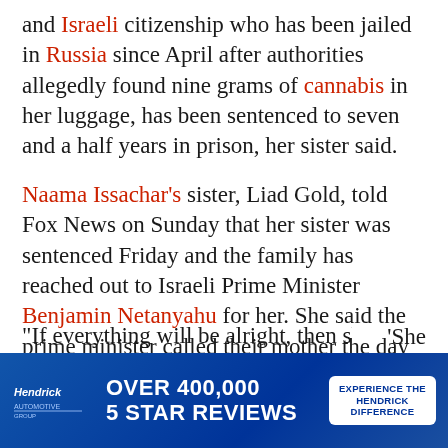and Israeli citizenship who has been jailed in Russia since April after authorities allegedly found nine grams of cannabis in her luggage, has been sentenced to seven and a half years in prison, her sister said.
Naama Issachar's sister, Liad Gold, told Fox News on Sunday that her sister was sentenced Friday and the family has reached out to Israeli Prime Minister Benjamin Netanyahu for her. She said the prime minister called their mother the day of the sentencing to let her know that he will do everything he can to have her released as soon as possible.
[Figure (other): Hendrick automotive advertisement banner: 'OVER 400,000 5 STAR REVIEWS' with 'EXPERIENCE THE HENDRICK DIFFERENCE' call-to-action button]